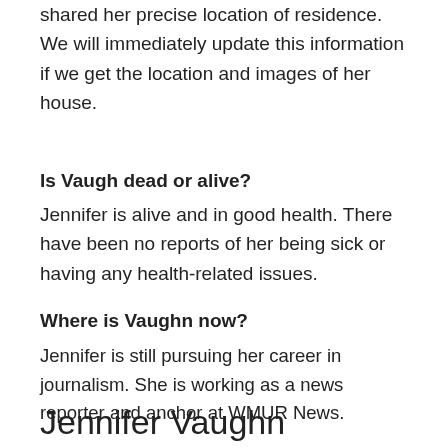shared her precise location of residence. We will immediately update this information if we get the location and images of her house.
Is Vaugh dead or alive?
Jennifer is alive and in good health. There have been no reports of her being sick or having any health-related issues.
Where is Vaughn now?
Jennifer is still pursuing her career in journalism. She is working as a news reporter and anchor at WMUR News.
Jennifer Vaughn Contacts